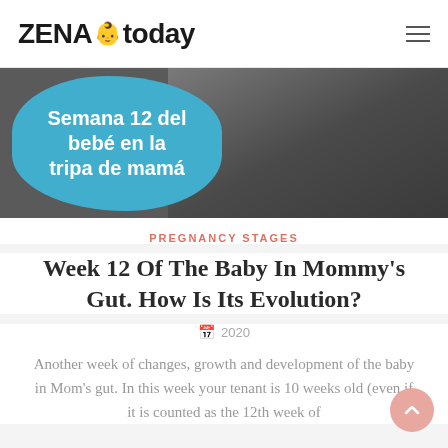ZENA today
[Figure (photo): Hero image showing a pregnant woman sitting on a couch, with a blue oval overlay on the left containing Spanish text 'Semana 12 del bebé en la tripa de mamá']
Semana 12 del bebé en la tripa de mamá
PREGNANCY STAGES
Week 12 Of The Baby In Mommy's Gut. How Is Its Evolution?
2020
Another week of changes, growth and development of the baby in Mom's gut. In this week your tenant is 10 weeks old (even if it is counted as the 12th week of